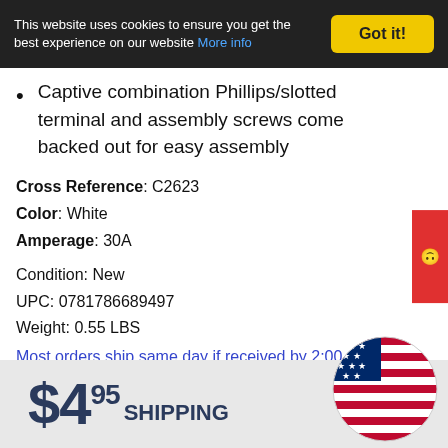This website uses cookies to ensure you get the best experience on our website More info
Captive combination Phillips/slotted terminal and assembly screws come backed out for easy assembly
Cross Reference: C2623
Color: White
Amperage: 30A
Condition: New
UPC: 0781786689497
Weight: 0.55 LBS
Most orders ship same day if received by 2:00 pm EST Mon-Fri and 12:00 pm EST Sat. Some larger orders or items that require special handling may be shipped next business day.
$4.95 SHIPPING